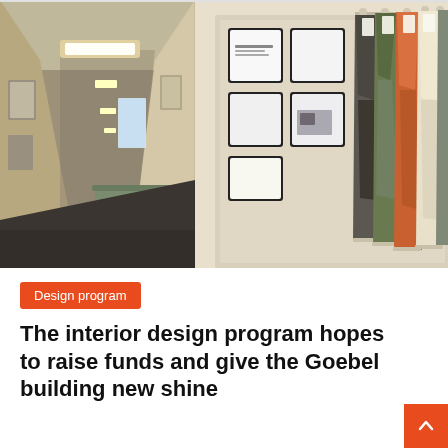[Figure (photo): Interior hallway of the Goebel building on the left, showing a long corridor with overhead lights, bench seating, and artwork on walls; on the right, colorful fabric swatches and framed design boards pinned to a display wall.]
Design program
The interior design program hopes to raise funds and give the Goebel building new shine
April 15, 2021